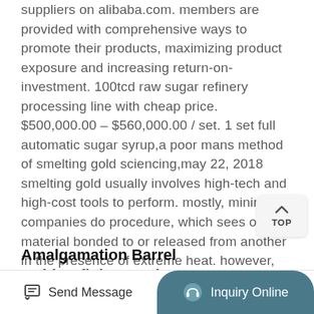suppliers on alibaba.com. members are provided with comprehensive ways to promote their products, maximizing product exposure and increasing return-on-investment. 100tcd raw sugar refinery processing line with cheap price. $500,000.00 – $560,000.00 / set. 1 set full automatic sugar syrup,a poor mans method of smelting gold sciencing,may 22, 2018 smelting gold usually involves high-tech and high-cost tools to perform. mostly, mining companies do procedure, which sees one material bonded to or released from another in the presence of extreme heat. however, prospectors, and people at home, can smelt their old gold using some simple steps.
Amalgamation Barrel Gold Refining Equipment Gold